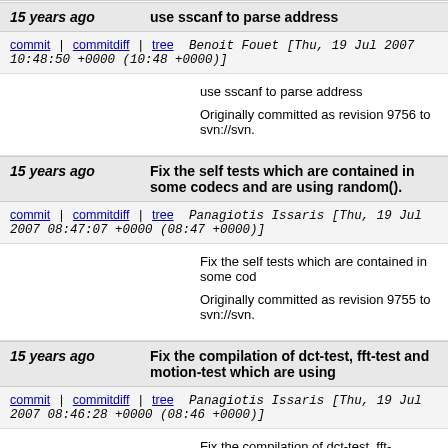15 years ago   use sscanf to parse address
commit | commitdiff | tree   Benoit Fouet [Thu, 19 Jul 2007 10:48:50 +0000 (10:48 +0000)]
use sscanf to parse address

Originally committed as revision 9756 to svn://svn.
15 years ago   Fix the self tests which are contained in some codecs and are using random().
commit | commitdiff | tree   Panagiotis Issaris [Thu, 19 Jul 2007 08:47:07 +0000 (08:47 +0000)]
Fix the self tests which are contained in some cod

Originally committed as revision 9755 to svn://svn.
15 years ago   Fix the compilation of dct-test, fft-test and motion-test which are using
commit | commitdiff | tree   Panagiotis Issaris [Thu, 19 Jul 2007 08:46:28 +0000 (08:46 +0000)]
Fix the compilation of dct-test, fft-test and motion-test which are using